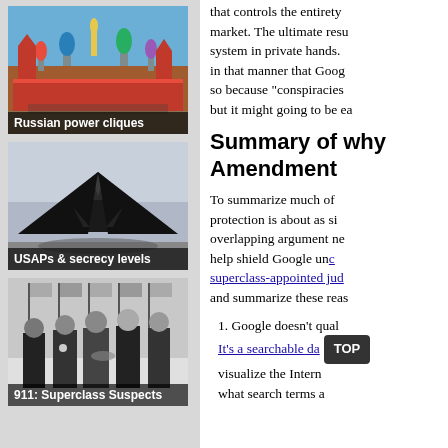[Figure (photo): Photo of the Kremlin and Saint Basil's Cathedral in Moscow with caption 'Russian power cliques']
[Figure (photo): Photo of a black stealth aircraft (F-117) with caption 'USAPs & secrecy levels']
[Figure (photo): Black and white photo of men in suits shaking hands with caption '911: Superclass Suspects']
that controls the entirety market. The ultimate resu system in private hands. in that manner that Goog so because "conspiracies but it might going to be ea
Summary of why Amendment
To summarize much of protection is about as si overlapping argument ne help shield Google un superclass-appointed jud and summarize these reas
1. Google doesn't qual It's a searchable da visualize the Intern what search terms a